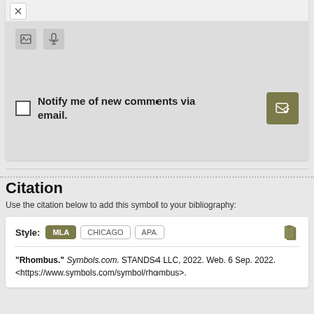[Figure (screenshot): UI widget showing toolbar with image and microphone icons, and a checkbox labeled 'Notify me of new comments via email.' with a submit button]
Citation
Use the citation below to add this symbol to your bibliography:
[Figure (screenshot): Citation style selector showing MLA (active), CHICAGO, APA buttons with a clipboard icon, followed by a dotted separator and the citation text: "Rhombus." Symbols.com. STANDS4 LLC, 2022. Web. 6 Sep. 2022. <https://www.symbols.com/symbol/rhombus>.]